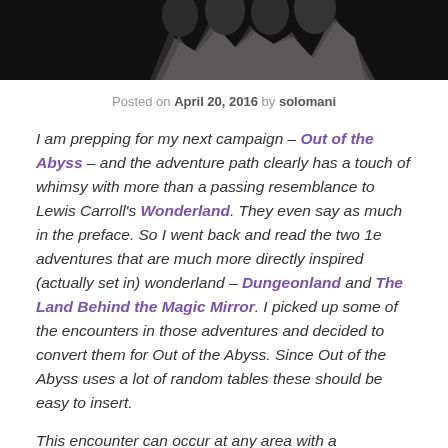[Figure (photo): Dark image at top of page showing what appears to be teeth or rocks against a black background]
Posted on April 20, 2016 by solomani
I am prepping for my next campaign – Out of the Abyss – and the adventure path clearly has a touch of whimsy with more than a passing resemblance to Lewis Carroll's Wonderland.  They even say as much in the preface.  So I went back and read the two 1e adventures that are much more directly inspired (actually set in) wonderland – Dungeonland and The Land Behind the Magic Mirror.  I picked up some of the encounters in those adventures and decided to convert them for Out of the Abyss.  Since Out of the Abyss uses a lot of random tables these should be easy to insert.
This encounter can occur at any area with a mushroom